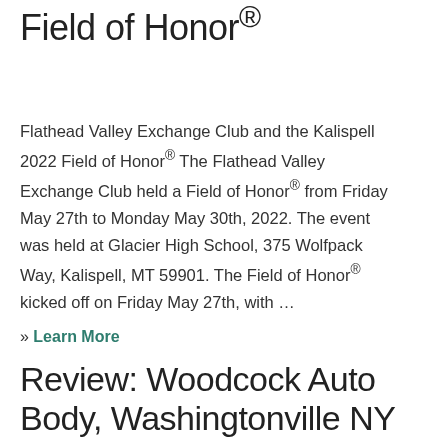Field of Honor®
Flathead Valley Exchange Club and the Kalispell 2022 Field of Honor® The Flathead Valley Exchange Club held a Field of Honor® from Friday May 27th to Monday May 30th, 2022. The event was held at Glacier High School, 375 Wolfpack Way, Kalispell, MT 59901. The Field of Honor® kicked off on Friday May 27th, with …
» Learn More
Review: Woodcock Auto Body, Washingtonville NY
Review: Woodcock Auto Body, Washingtonville NY A few weeks ago, as I